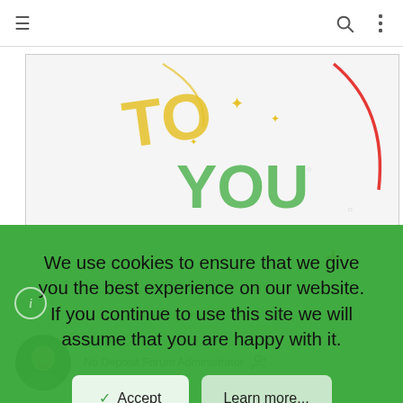Navigation bar with hamburger menu, search icon, and more options icon
[Figure (illustration): Colorful celebratory text 'TO YOU' in green and gold lettering with sparkles and decorative elements, plus a red plus sign in the lower right corner]
Mben
No Deposit Forum Administrator
Staff member
We use cookies to ensure that we give you the best experience on our website. If you continue to use this site we will assume that you are happy with it.
✓ Accept
Learn more...